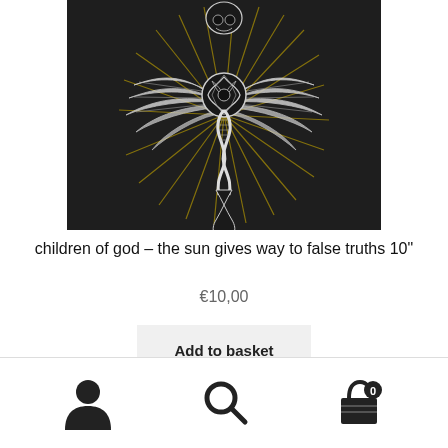[Figure (illustration): Album artwork showing a winged rose cross design in white on dark background with golden rays, tattoo-style illustration]
children of god – the sun gives way to false truths 10"
€10,00
Add to basket